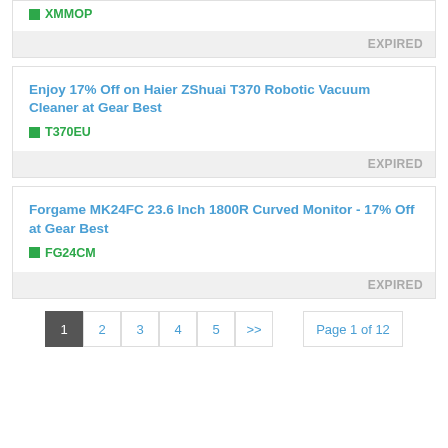XMMOP
EXPIRED
Enjoy 17% Off on Haier ZShuai T370 Robotic Vacuum Cleaner at Gear Best
T370EU
EXPIRED
Forgame MK24FC 23.6 Inch 1800R Curved Monitor - 17% Off at Gear Best
FG24CM
EXPIRED
1 2 3 4 5 >> Page 1 of 12